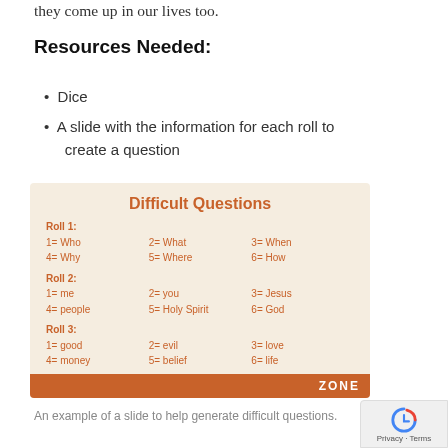they come up in our lives too.
Resources Needed:
Dice
A slide with the information for each roll to create a question
[Figure (infographic): Difficult Questions slide showing Roll 1 (1=Who, 2=What, 3=When, 4=Why, 5=Where, 6=How), Roll 2 (1=me, 2=you, 3=Jesus, 4=people, 5=Holy Spirit, 6=God), Roll 3 (1=good, 2=evil, 3=love, 4=money, 5=belief, 6=life) with orange ZONE logo footer]
An example of a slide to help generate difficult questions.